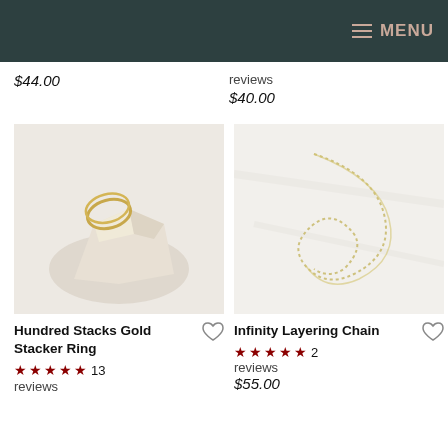MENU
$44.00
reviews
$40.00
[Figure (photo): Gold stacker ring displayed on a white crystal rock]
[Figure (photo): Gold infinity layering chain on a white marble surface]
Hundred Stacks Gold Stacker Ring
★★★★★ 13 reviews
Infinity Layering Chain
★★★★★ 2 reviews
$55.00